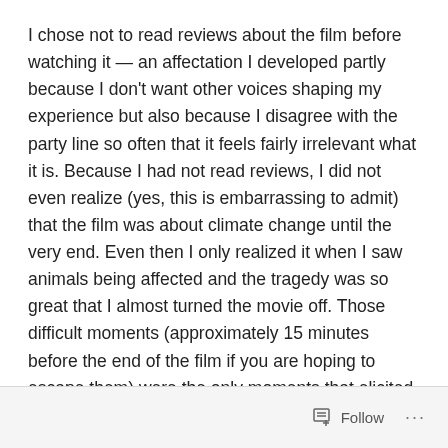I chose not to read reviews about the film before watching it — an affectation I developed partly because I don't want other voices shaping my experience but also because I disagree with the party line so often that it feels fairly irrelevant what it is. Because I had not read reviews, I did not even realize (yes, this is embarrassing to admit) that the film was about climate change until the very end. Even then I only realized it when I saw animals being affected and the tragedy was so great that I almost turned the movie off. Those difficult moments (approximately 15 minutes before the end of the film if you are hoping to escape them) were the only moments that elicited real emotion.
Follow ···